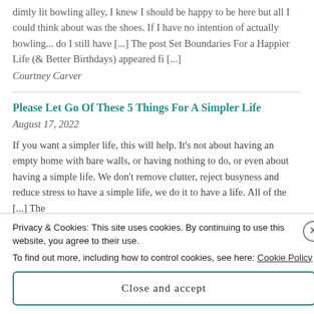dimly lit bowling alley, I knew I should be happy to be here but all I could think about was the shoes. If I have no intention of actually bowling... do I still have [...] The post Set Boundaries For a Happier Life (& Better Birthdays) appeared fi [...]
Courtney Carver
Please Let Go Of These 5 Things For A Simpler Life
August 17, 2022
If you want a simpler life, this will help. It's not about having an empty home with bare walls, or having nothing to do, or even about having a simple life. We don't remove clutter, reject busyness and reduce stress to have a simple life, we do it to have a life. All of the [...] The
Privacy & Cookies: This site uses cookies. By continuing to use this website, you agree to their use.
To find out more, including how to control cookies, see here: Cookie Policy
Close and accept